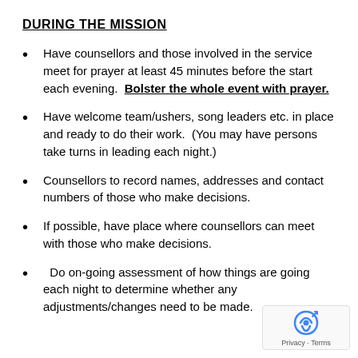DURING THE MISSION
Have counsellors and those involved in the service meet for prayer at least 45 minutes before the start each evening.  Bolster the whole event with prayer.
Have welcome team/ushers, song leaders etc. in place and ready to do their work.  (You may have persons take turns in leading each night.)
Counsellors to record names, addresses and contact numbers of those who make decisions.
If possible, have place where counsellors can meet with those who make decisions.
Do on-going assessment of how things are going each night to determine whether any adjustments/changes need to be made.